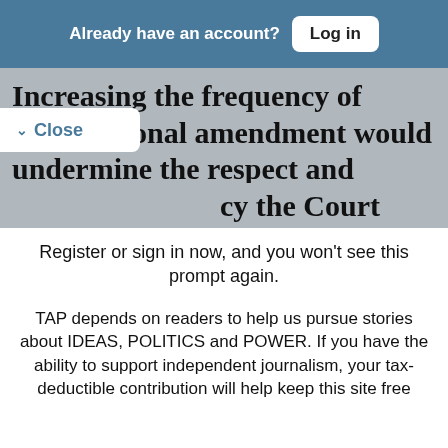Already have an account? Log in
Increasing the frequency of constitutional amendment would undermine the respect and cy the Court now enjoys in this
Close
Register or sign in now, and you won't see this prompt again.
TAP depends on readers to help us pursue stories about IDEAS, POLITICS and POWER. If you have the ability to support independent journalism, your tax-deductible contribution will help keep this site free